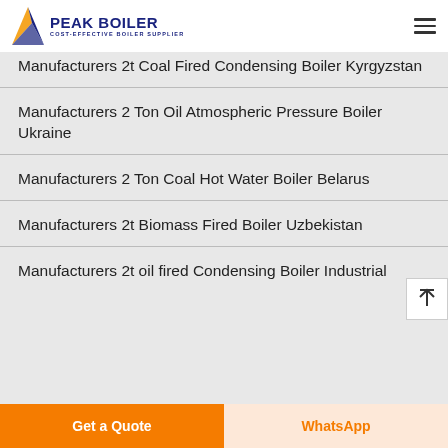PEAK BOILER — COST-EFFECTIVE BOILER SUPPLIER
Manufacturers 2t Coal Fired Condensing Boiler Kyrgyzstan
Manufacturers 2 Ton Oil Atmospheric Pressure Boiler Ukraine
Manufacturers 2 Ton Coal Hot Water Boiler Belarus
Manufacturers 2t Biomass Fired Boiler Uzbekistan
Manufacturers 2t oil fired Condensing Boiler Industrial
Get a Quote
WhatsApp